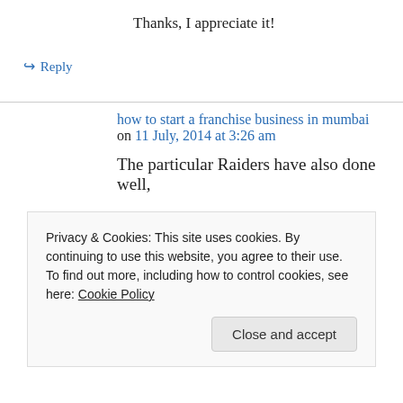Thanks, I appreciate it!
↪ Reply
how to start a franchise business in mumbai on 11 July, 2014 at 3:26 am
The particular Raiders have also done well,
Privacy & Cookies: This site uses cookies. By continuing to use this website, you agree to their use.
To find out more, including how to control cookies, see here: Cookie Policy
Close and accept